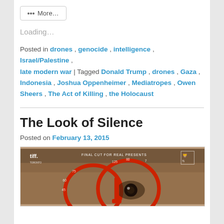More...
Loading...
Posted in drones , genocide , intelligence , Israel/Palestine , late modern war | Tagged Donald Trump , drones , Gaza , Indonesia , Joshua Oppenheimer , Mediatropes , Owen Sheers , The Act of Killing , the Holocaust
The Look of Silence
Posted on February 13, 2015
[Figure (photo): Movie poster for 'The Look of Silence' showing a close-up of an eye reflected in a red-framed optometry lens device, with text 'FINAL CUT FOR REAL PRESENTS' and 'tiff.' logo]